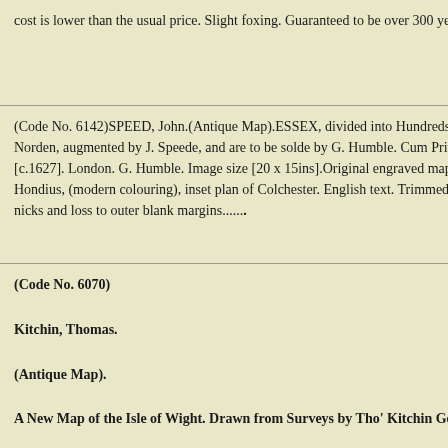cost is lower than the usual price. Slight foxing. Guaranteed to be over 300 years old......
(Code No. 6142)SPEED, John.(Antique Map).ESSEX, divided into Hundreds.....Described by John Norden, augmented by J. Speede, and are to be solde by G. Humble. Cum Privilegio.Date. [c.1627]. London. G. Humble. Image size [20 x 15ins].Original engraved map of Essex by Jodocus Hondius, (modern colouring), inset plan of Colchester. English text. Trimmed to bottom left corner, nicks and loss to outer blank margins.........
SOLD.
(Code No. 6070)

Kitchin, Thomas.

(Antique Map).

A New Map of the Isle of Wight. Drawn from Surveys by Tho' Kitchin Geog'.

Date. 1763.

London, London Magazine. Page size (10
[Figure (map): Small antique map of the Isle of Wight, black and white engraving]